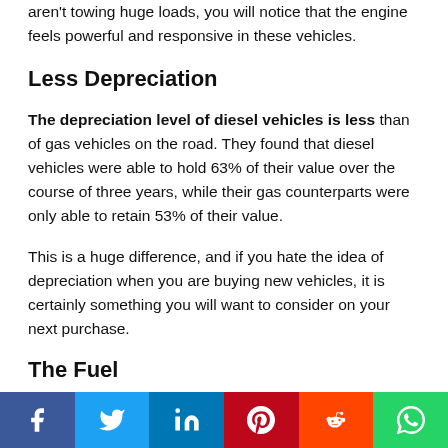aren't towing huge loads, you will notice that the engine feels powerful and responsive in these vehicles.
Less Depreciation
The depreciation level of diesel vehicles is less than of gas vehicles on the road. They found that diesel vehicles were able to hold 63% of their value over the course of three years, while their gas counterparts were only able to retain 53% of their value.
This is a huge difference, and if you hate the idea of depreciation when you are buying new vehicles, it is certainly something you will want to consider on your next purchase.
The Fuel
One of the things that you've probably noticed when you head
f  Twitter  in  Pinterest  Reddit  WhatsApp